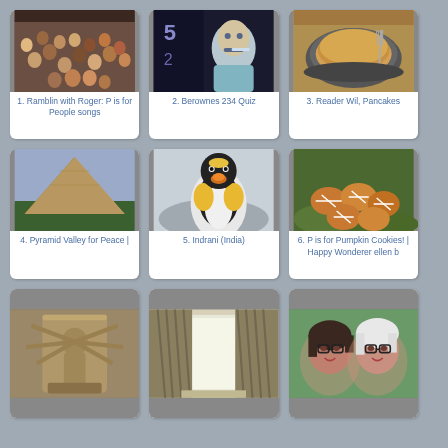[Figure (photo): Large crowd of people]
1. Ramblin with Roger: P is for People songs
[Figure (photo): Illustrated man brushing teeth with number 5 visible]
2. Berownes 234 Quiz
[Figure (photo): Pancakes in a pan with fork]
3. Reader Wil, Pancakes
[Figure (photo): Pyramid Valley landscape]
4. Pyramid Valley for Peace |
[Figure (photo): King penguin close-up]
5. Indrani (India)
[Figure (photo): Pumpkin cookies with icing]
6. P is for Pumpkin Cookies! | Happy Wonderer ellen b
[Figure (photo): Stone carved deity sculpture]
[Figure (photo): Curtains by a window]
[Figure (photo): Two women smiling together selfie]